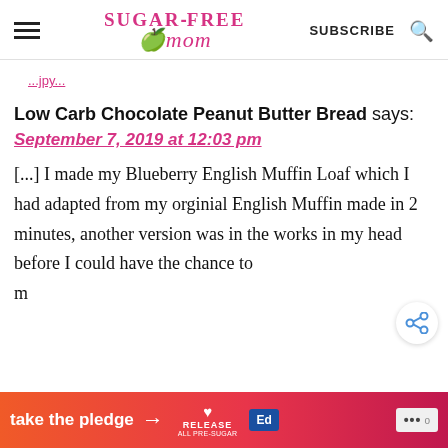Sugar-Free Mom | SUBSCRIBE
...jpy...
Low Carb Chocolate Peanut Butter Bread says:
September 7, 2019 at 12:03 pm
[...] I made my Blueberry English Muffin Loaf which I had adapted from my orginial English Muffin made in 2 minutes, another version was in the works in my head before I could have the chance to make it in the [...]
[Figure (other): Share button icon]
[Figure (other): Advertisement banner: take the pledge with arrow, Release logo, Ed logo, and menu dots with degree symbol]